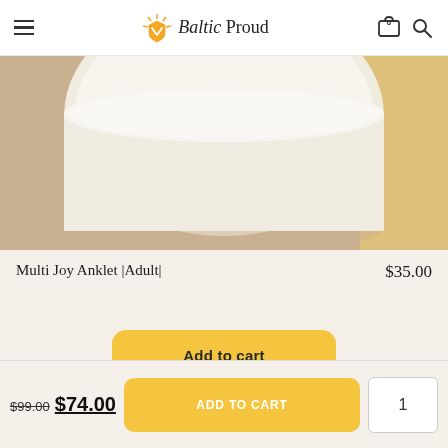Baltic Proud — navigation header with hamburger menu, logo, cart icon, search icon
[Figure (photo): Close-up product photo of a white/cream cylindrical anklet display stand against a warm beige background]
Multi Joy Anklet |Adult|
$35.00
Add to cart
$99.00 $74.00
ADD TO CART
1